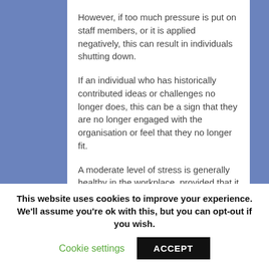However, if too much pressure is put on staff members, or it is applied negatively, this can result in individuals shutting down.
If an individual who has historically contributed ideas or challenges no longer does, this can be a sign that they are no longer engaged with the organisation or feel that they no longer fit.
A moderate level of stress is generally healthy in the workplace, provided that it is positive.
It allows staff to work towards goals and feel a
This website uses cookies to improve your experience. We'll assume you're ok with this, but you can opt-out if you wish.
Cookie settings
ACCEPT